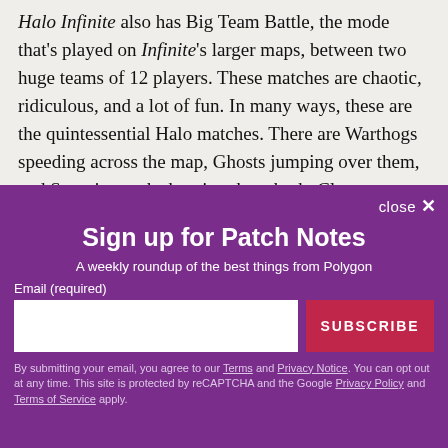Halo Infinite also has Big Team Battle, the mode that's played on Infinite's larger maps, between two huge teams of 12 players. These matches are chaotic, ridiculous, and a lot of fun. In many ways, these are the quintessential Halo matches. There are Warthogs speeding across the map, Ghosts jumping over them, and Scorpion tanks hunting them both. Close-range
[Figure (screenshot): Email newsletter sign-up overlay with purple background. Title: 'Sign up for Patch Notes'. Subtitle: 'A weekly roundup of the best things from Polygon'. Email input field with SUBSCRIBE button. Disclaimer text about Terms and Privacy Notice, reCAPTCHA, Google Privacy Policy and Terms of Service.]